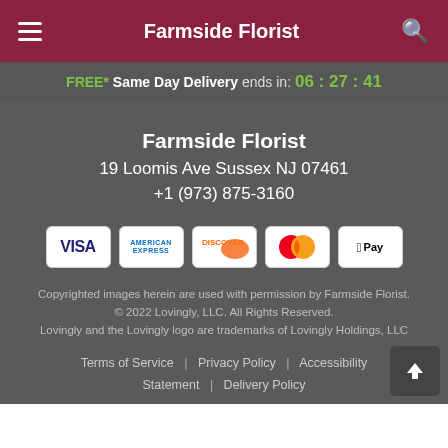Farmside Florist
FREE* Same Day Delivery ends in: 06:27:41
Farmside Florist
19 Loomis Ave Sussex NJ 07461
+1 (973) 875-3160
[Figure (logo): Payment method icons: VISA, American Express, Discover, Mastercard, Apple Pay]
Copyrighted images herein are used with permission by Farmside Florist.
© 2022 Lovingly, LLC. All Rights Reserved.
Lovingly and the Lovingly logo are trademarks of Lovingly Holdings, LLC
Terms of Service | Privacy Policy | Accessibility Statement | Delivery Policy